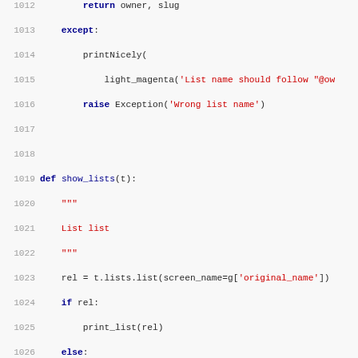[Figure (screenshot): Python source code snippet showing lines 1012-1043, including functions show_lists(t) and list_home(t) with syntax highlighting (keywords in dark blue bold, strings in red, line numbers in gray).]